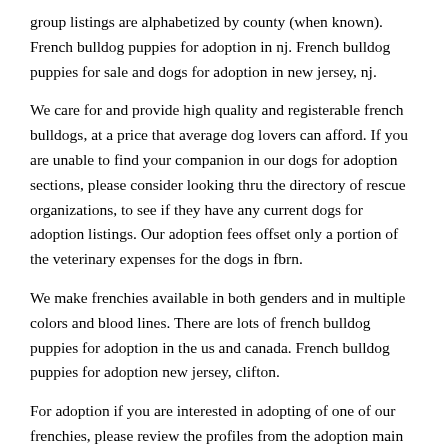group listings are alphabetized by county (when known). French bulldog puppies for adoption in nj. French bulldog puppies for sale and dogs for adoption in new jersey, nj.
We care for and provide high quality and registerable french bulldogs, at a price that average dog lovers can afford. If you are unable to find your companion in our dogs for adoption sections, please consider looking thru the directory of rescue organizations, to see if they have any current dogs for adoption listings. Our adoption fees offset only a portion of the veterinary expenses for the dogs in fbrn.
We make frenchies available in both genders and in multiple colors and blood lines. There are lots of french bulldog puppies for adoption in the us and canada. French bulldog puppies for adoption new jersey, clifton.
For adoption if you are interested in adopting of one of our frenchies, please review the profiles from the adoption main menu and if you think you would be a good match, please click ‘apply now’ to submit your application. Pennsylvania, new jersey, massachusetts, vermont, or ohio. French bulldog dogs for adoption in new jersey, usa, page 1 (10 per page) puppyfinder.com is proud to be a part of the online adoption community.
French bulldogs can be high maintenance and require prior knowledge of their